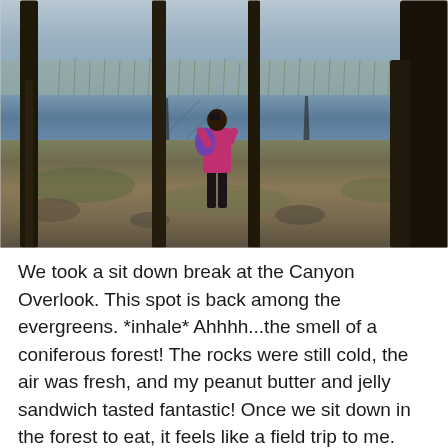[Figure (photo): A person in a pink jacket with a purple backpack stands among evergreen trees at a lake or pond overlook, looking out at the water. The scene shows tree trunks, rocky ground with sparse vegetation, and calm water reflecting the surroundings.]
We took a sit down break at the Canyon Overlook. This spot is back among the evergreens. *inhale* Ahhhh...the smell of a coniferous forest! The rocks were still cold, the air was fresh, and my peanut butter and jelly sandwich tasted fantastic! Once we sit down in the forest to eat, it feels like a field trip to me. Like a second grade adventure... and I love that!! 😯